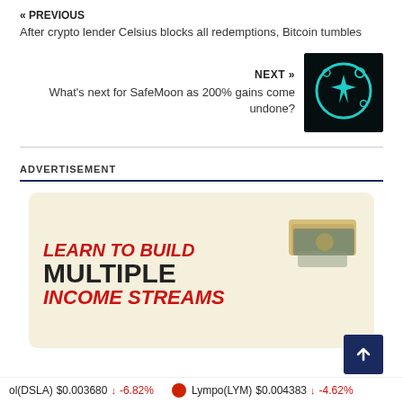« PREVIOUS
After crypto lender Celsius blocks all redemptions, Bitcoin tumbles
NEXT »
What's next for SafeMoon as 200% gains come undone?
[Figure (logo): SafeMoon logo — teal shield with rocket icon on black background]
ADVERTISEMENT
[Figure (illustration): Advertisement banner with text LEARN TO BUILD MULTIPLE INCOME STREAMS with cash/money imagery on cream background]
ol(DSLA)  $0.003680  ↓ -6.82%    Lympo(LYM)  $0.004383  ↓ -4.62%